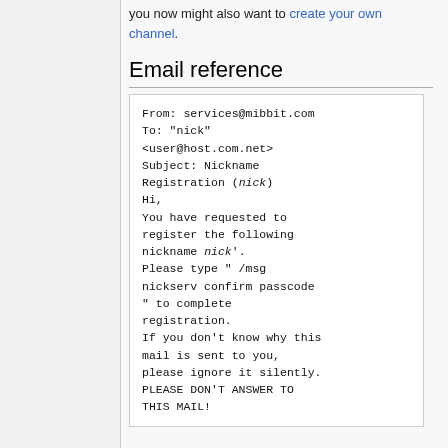you now might also want to create your own channel.
Email reference
From: services@mibbit.com
To: "nick"
<user@host.com.net>
Subject: Nickname Registration (nick)
Hi,
You have requested to register the following nickname nick'.
Please type " /msg nickserv confirm passcode " to complete registration.
If you don't know why this mail is sent to you, please ignore it silently.
PLEASE DON'T ANSWER TO THIS MAIL!